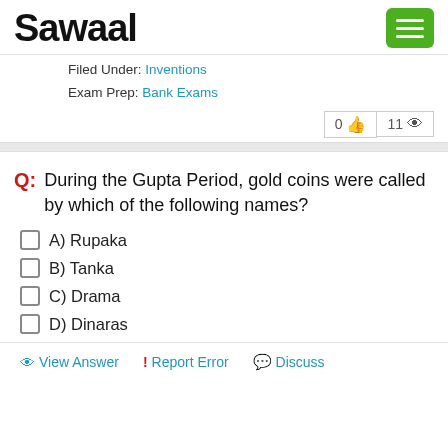Sawaal
Filed Under: Inventions
Exam Prep: Bank Exams
0 👍  11 👁
Q: During the Gupta Period, gold coins were called by which of the following names?
A) Rupaka
B) Tanka
C) Drama
D) Dinaras
👁 View Answer  ! Report Error  💬 Discuss